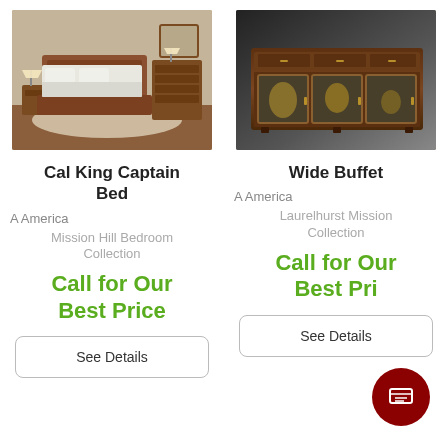[Figure (photo): Cal King Captain Bed bedroom furniture set in warm wood tone, shown in a room setting with dresser and nightstands]
Cal King Captain Bed
A America
Mission Hill Bedroom Collection
Call for Our Best Price
See Details
[Figure (photo): Wide Buffet in dark cherry wood with glass doors displaying decorative items]
Wide Buffet
A America
Laurelhurst Mission Collection
Call for Our Best Price
See Details